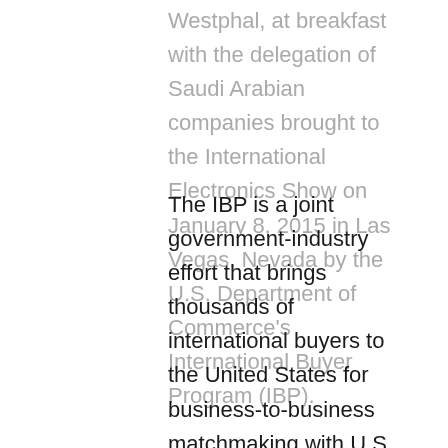Westphal, at breakfast with the delegation of Saudi Arabian companies brought to the International Electronics Show on January 8, 2015 in Las Vegas, Nevada by the U.S. Department of Commerce's International Buyer Program (IBP).
The IBP is a joint government-industry effort that brings thousands of international buyers to the United States for business-to-business matchmaking with U.S. firms exhibiting at major industry trade shows. Every year, the IBP results in approximately a billion dollars in new business for U.S. companies, and increased international attendance for participating U.S. trade show organizers.